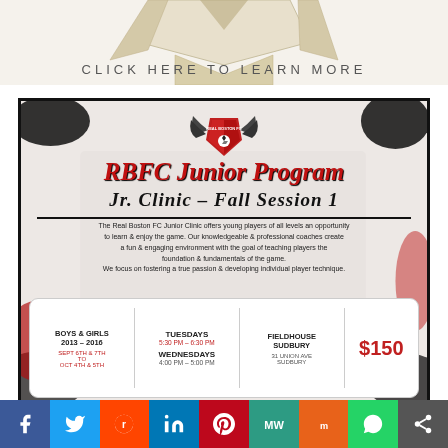[Figure (illustration): Partial ribbon/banner illustration at top on cream background]
CLICK HERE TO LEARN MORE
[Figure (infographic): RBFC Junior Program flyer: Real Boston FC logo, RBFC Junior Program heading, Jr. Clinic - Fall Session 1, description text, and info box with Boys & Girls 2013-2016, Sept 6th & 7th to Oct 4th & 5th, Tuesdays 5:30 PM - 6:30 PM, Wednesdays 4:00 PM - 5:00 PM, Fieldhouse Sudbury 31 Union Ave Sudbury, $150]
[Figure (infographic): Social media sharing bar with Facebook, Twitter, Reddit, LinkedIn, Pinterest, MeWe, Mix, WhatsApp, and share icons]